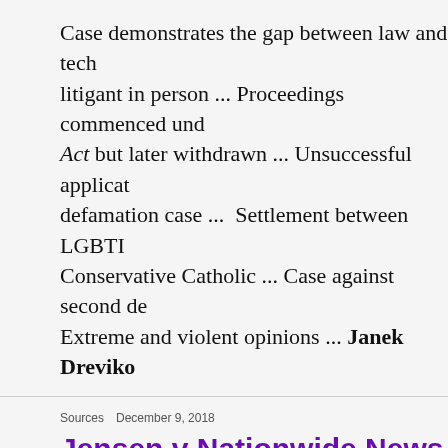Case demonstrates the gap between law and tech... litigant in person ... Proceedings commenced under Act but later withdrawn ... Unsuccessful application defamation case ...  Settlement between LGBTI ... Conservative Catholic ... Case against second de... Extreme and violent opinions ... Janek Drevikov...
Sources   December 9, 2018
Jensen v Nationwide News Pty Ltd...
Former Liberal Party MP sues over reports about novel ... Protection of journalist's sources ... New (WA) ... Sources and assessment of QP reasonab... considerations against disclosure ... Public intere...
... more